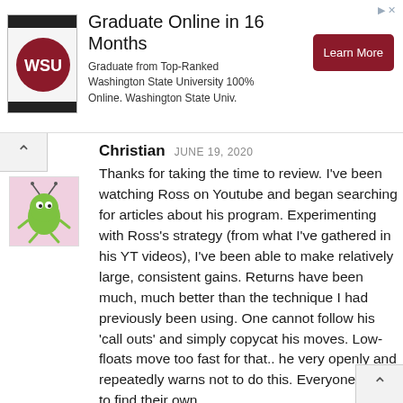[Figure (infographic): Advertisement banner: Washington State University logo on left, heading 'Graduate Online in 16 Months', body text 'Graduate from Top-Ranked Washington State University 100% Online. Washington State Univ.', and a dark red 'Learn More' button on the right.]
Christian  JUNE 19, 2020
Thanks for taking the time to review. I've been watching Ross on Youtube and began searching for articles about his program. Experimenting with Ross's strategy (from what I've gathered in his YT videos), I've been able to make relatively large, consistent gains. Returns have been much, much better than the technique I had previously been using. One cannot follow his 'call outs' and simply copycat his moves. Low-floats move too fast for that.. he very openly and repeatedly warns not to do this. Everyone needs to find their own